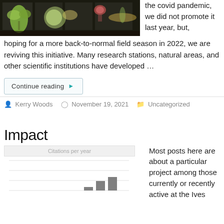[Figure (photo): Photo of botanical illustrations or plant drawings laid out on a table, showing leaves, flowers, and stems in colored pencil or watercolor style.]
the covid pandemic, we did not promote it last year, but, hoping for a more back-to-normal field season in 2022, we are reviving this initiative. Many research stations, natural areas, and other scientific institutions have developed …
Continue reading ▶
Kerry Woods   November 19, 2021   Uncategorized
Impact
[Figure (bar-chart): Citations per year]
Most posts here are about a particular project among those currently or recently active at the Ives